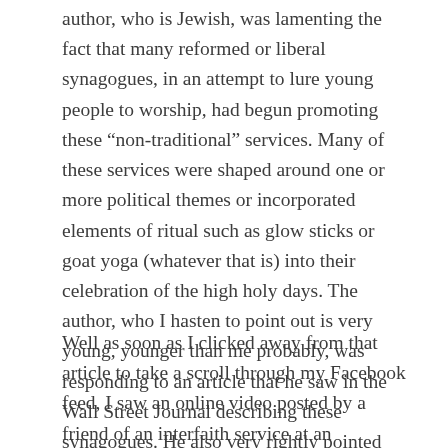author, who is Jewish, was lamenting the fact that many reformed or liberal synagogues, in an attempt to lure young people to worship, had begun promoting these “non-traditional” services. Many of these services were shaped around one or more political themes or incorporated elements of ritual such as glow sticks or goat yoga (whatever that is) into their celebration of the high holy days. The author, who I hasten to point out is very young, younger than me probably, was responding to an article that he saw in the Wall Street Journal describing these synagogues. He also very rightly pointed that many liberal churches have resorted to similar tactics to try and draw in new members.
Well as soon as I clicked away from that article to take a scroll through my Facebook feed, I saw an online video posted by a friend of an interfaith service at an Episcopal Cathedral in another diocese, with giant tree people processing down the aisle (if you saw Guardians of the